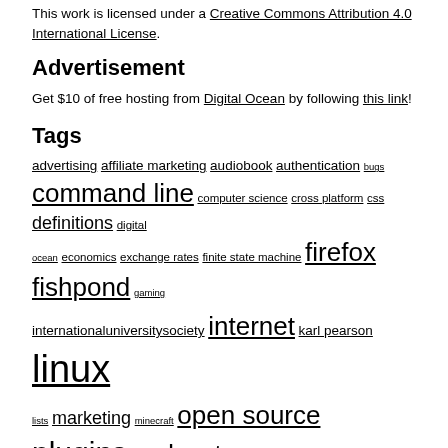This work is licensed under a Creative Commons Attribution 4.0 International License.
Advertisement
Get $10 of free hosting from Digital Ocean by following this link!
Tags
advertising affiliate marketing audiobook authentication bugs command line computer science cross platform css definitions digital ocean economics exchange rates finite state machine firefox fishpond gaming internationaluniversitysociety internet karl pearson linux lists marketing minecraft open source plugins podcast programming public keys qt quantum computing rss ruby scripts